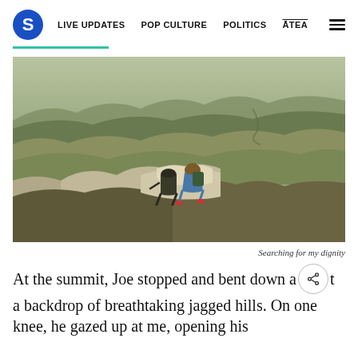S  LIVE UPDATES  POP CULTURE  POLITICS  ĀTEA  ☰
[Figure (photo): Two hikers crouched on a rocky mountain ridge with sweeping views of rolling hills and valleys in the background, photographed in natural light]
Searching for my dignity
At the summit, Joe stopped and bent down against a backdrop of breathtaking jagged hills. On one knee, he gazed up at me, opening his